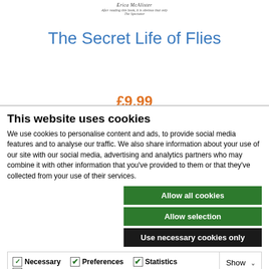Erica McAlister
After reading this book, it is obvious that only The Spectator
The Secret Life of Flies
£9.99
This website uses cookies
We use cookies to personalise content and ads, to provide social media features and to analyse our traffic. We also share information about your use of our site with our social media, advertising and analytics partners who may combine it with other information that you've provided to them or that they've collected from your use of their services.
Allow all cookies
Allow selection
Use necessary cookies only
Necessary  Preferences  Statistics  Marketing  Show details